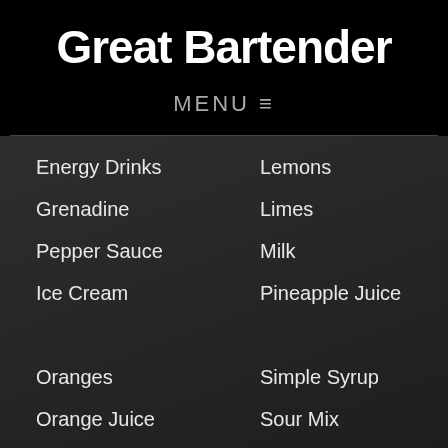Great Bartender
MENU ≡
Energy Drinks
Grenadine
Pepper Sauce
Ice Cream
Oranges
Orange Juice
Salt
Strawberries
Sugar
Lemons
Limes
Milk
Pineapple Juice
Simple Syrup
Sour Mix
Tea
Tonic Water
Vermouth